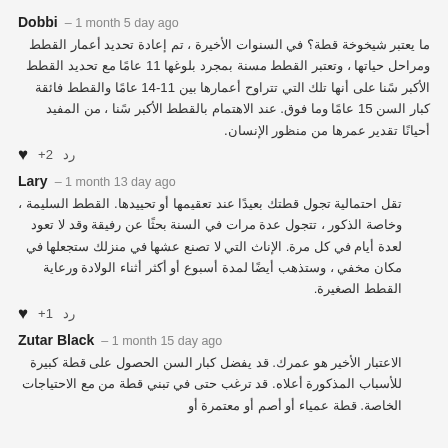Dobbi – 1 month 5 day ago
ما يعتبر شيخوخة قطة؟ في السنوات الأخيرة ، تم إعادة تحديد أعمار القطط ومراحل حياتها ، وتعتبر القطط مسنة بمجرد بلوغها 11 عامًا مع تحديد القطط الأكبر سًنا على أنها تلك التي تتراوح أعمارها بين 11-14 عامًا والقطط فائقة كبار السن 15 عامًا وما فوق. عند الاهتمام بالقطط الأكبر سًنا ، من المفيد أحيانًا تقدير عمرها من منظور الإنسان.
رد   +2  ♥
Lary – 1 month 13 day ago
تقل احتمالية تجول قطتك بعيدًا عند تعقيمها أو تحييدها. القطط السليمة ، وخاصة الذكور ، تتجول عدة مرات في السنة بحثًا عن رفيقة وقد لا تعود لعدة أيام في كل مرة. الإناث التي لا تصنع عشها في منزلك ستجعلها في مكان مخفي ، وستذهب أيضًا لمدة أسبوع أو أكثر أثناء الولادة ورعاية القطط الصغيرة.
رد   +1  ♥
Zutar Black – 1 month 15 day ago
الاعتبار الأخير هو عمرك. قد يفضل كبار السن الحصول على قطة كبيرة للأسباب المذكورة أعلاه. قد ترغب حتى في تبني قطة من مع الاحتياجات الخاصة. قطة عمياء أو أصم أو معتمرة أو...